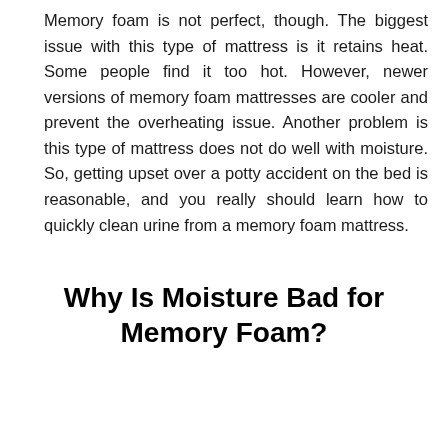Memory foam is not perfect, though. The biggest issue with this type of mattress is it retains heat. Some people find it too hot. However, newer versions of memory foam mattresses are cooler and prevent the overheating issue. Another problem is this type of mattress does not do well with moisture. So, getting upset over a potty accident on the bed is reasonable, and you really should learn how to quickly clean urine from a memory foam mattress.
Why Is Moisture Bad for Memory Foam?